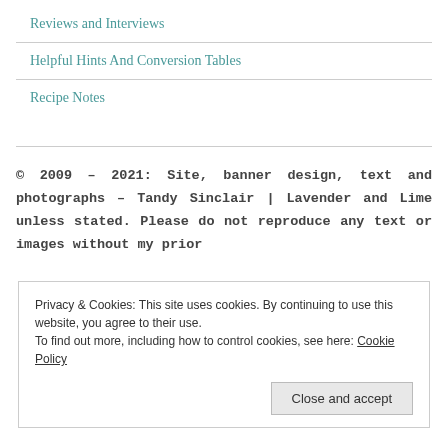Reviews and Interviews
Helpful Hints And Conversion Tables
Recipe Notes
© 2009 – 2021: Site, banner design, text and photographs – Tandy Sinclair | Lavender and Lime unless stated. Please do not reproduce any text or images without my prior
Privacy & Cookies: This site uses cookies. By continuing to use this website, you agree to their use.
To find out more, including how to control cookies, see here: Cookie Policy
Close and accept